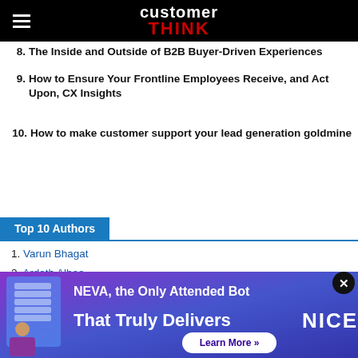customer THINK
8. The Inside and Outside of B2B Buyer-Driven Experiences
9. How to Ensure Your Frontline Employees Receive, and Act Upon, CX Insights
10. How to make customer support your lead generation goldmine
Top 10 Authors
1. Varun Bhagat
2. Ardath Albee
[Figure (infographic): Advertisement banner for NEVA attended bot by NICE. Purple/blue gradient background with text: NEVA, the Only Attended Bot That Truly Delivers. Learn More button. NICE logo.]